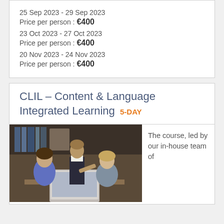25 Sep 2023 - 29 Sep 2023
Price per person :  €400
23 Oct 2023 - 27 Oct 2023
Price per person :  €400
20 Nov 2023 - 24 Nov 2023
Price per person :  €400
CLIL – Content & Language Integrated Learning  5-DAY
[Figure (photo): Three people gathered around a laptop in an office or library setting, one man standing and pointing at the screen, two women seated looking at the laptop.]
The course, led by our in-house team of